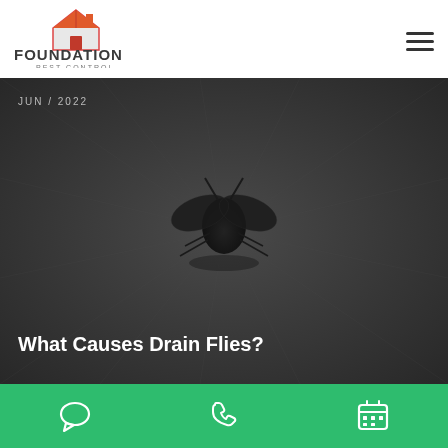[Figure (logo): Foundation Pest Control logo with orange house icon and bold text]
[Figure (photo): Dark close-up photo of a drain fly (small fuzzy moth-like insect) on a dark grey surface]
JUN / 2022
What Causes Drain Flies?
[Figure (infographic): Green bottom bar with three white icons: chat bubble, phone handset, and calendar]